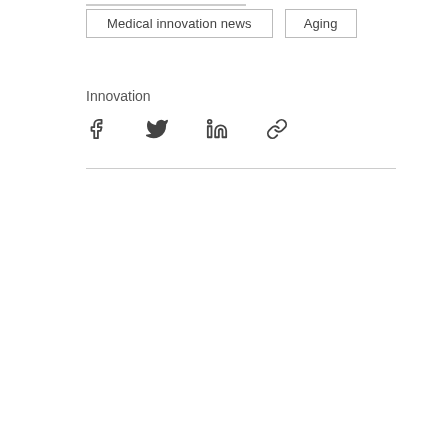Medical innovation news
Aging
Innovation
[Figure (infographic): Social share icons: Facebook, Twitter, LinkedIn, Link/chain icon]